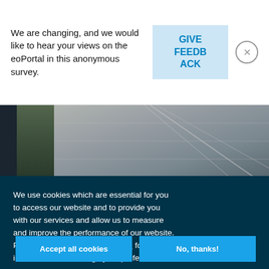We are changing, and we would like to hear your views on the eoPortal in this anonymous survey.
GIVE FEEDBACK
[Figure (photo): Partial view of a building exterior with architectural elements, palm tree visible on left, steel cable or antenna extending diagonally.]
We use cookies which are essential for you to access our website and to provide you with our services and allow us to measure and improve the performance of our website. Please consult our Cookie Notice for further information or to change your preferences.
Accept all cookies
No, thanks!